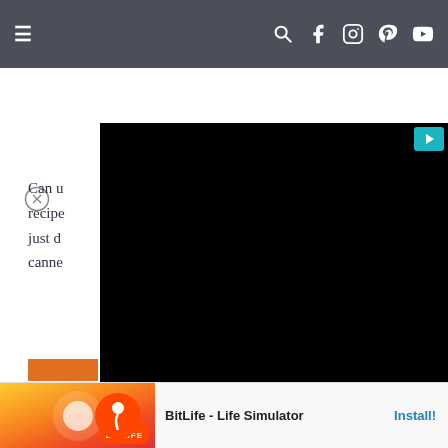Navigation bar with hamburger menu and social icons (search, facebook, instagram, pinterest, youtube)
NANCY SAYS
NOVEMBER 21, 2021 AT 6:57 PM
Can u... recipe... just d... canne...
[Figure (screenshot): Black video player overlay with teal play button in top-right corner]
[Figure (screenshot): Ad banner: BitLife - Life Simulator app advertisement with Install button]